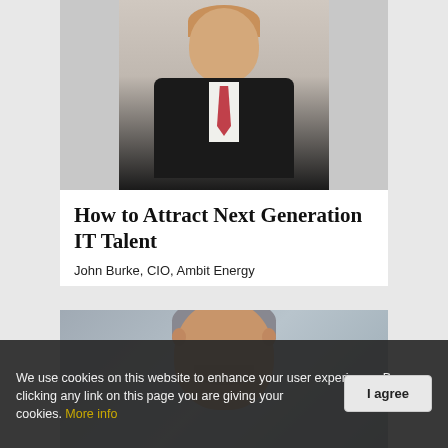[Figure (photo): Professional headshot of a young man in a dark suit with a red/pink patterned tie, white shirt, photographed from chest up against a light background.]
How to Attract Next Generation IT Talent
John Burke, CIO, Ambit Energy
[Figure (photo): Professional headshot of an older man with salt-and-pepper gray hair, smiling, wearing a dark suit, photographed against a gray background.]
We use cookies on this website to enhance your user experience. By clicking any link on this page you are giving your consent for us to set cookies. More info